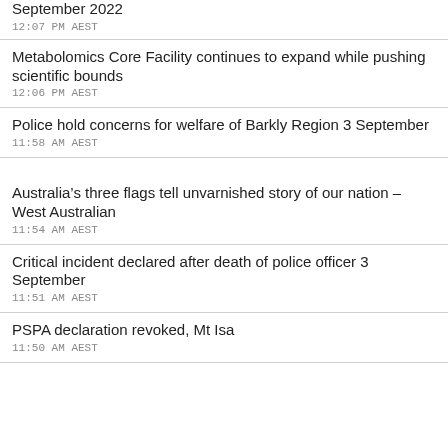September 2022
12:07 PM AEST
Metabolomics Core Facility continues to expand while pushing scientific bounds
12:06 PM AEST
Police hold concerns for welfare of Barkly Region 3 September
11:58 AM AEST
Australia’s three flags tell unvarnished story of our nation – West Australian
11:54 AM AEST
Critical incident declared after death of police officer 3 September
11:51 AM AEST
PSPA declaration revoked, Mt Isa
11:50 AM AEST